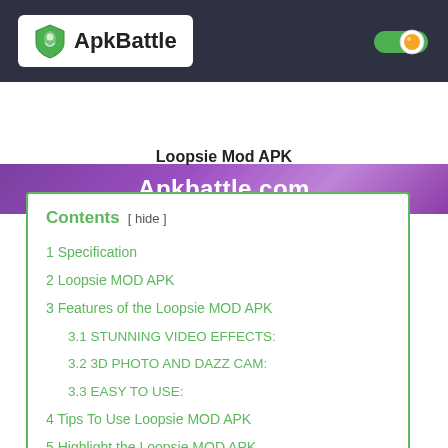ApkBattle
[Figure (logo): ApkBattle logo with shield icon on dark header bar, and a toggle switch icon on the right]
[Figure (illustration): Purple banner with text Apkbattle.com]
Loopsie Mod APK
Contents  [ hide ]
1 Specification
2 Loopsie MOD APK
3 Features of the Loopsie MOD APK
3.1 STUNNING VIDEO EFFECTS:
3.2 3D PHOTO AND DAZZ CAM:
3.3 EASY TO USE:
4 Tips To Use Loopsie MOD APK
5 Highlight the Loopsie MOD APK
6 Loopsie MOD APK